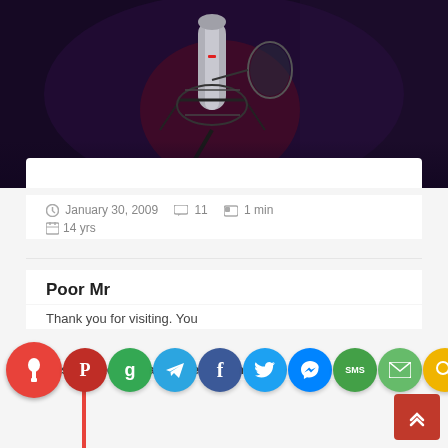[Figure (photo): Studio condenser microphone with shock mount on a stand, illuminated with red and blue/purple lighting against a dark background. A pop filter is visible to the right.]
January 30, 2009   11   1 min
14 yrs
Poor Mr
Thank you for visiting. You passionate appear to the British